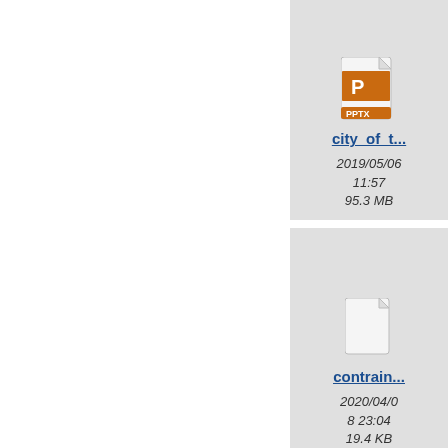[Figure (screenshot): File browser grid view showing file cards: city_of_t... (PPTX, 2019/05/06 11:57, 95.3 MB), color... (partially visible, 2019/... 16..., 5.1...), contrain... (2020/04/08 23:04, 19.4 KB), costu... (2018/... 11..., 1.6...), and two more partially visible cards at bottom]